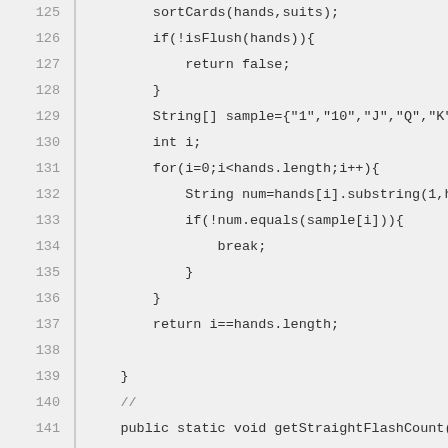[Figure (screenshot): Source code listing showing Java code lines 125–147, with line numbers on the left, a vertical separator, and code on the right. Background is light gray.]